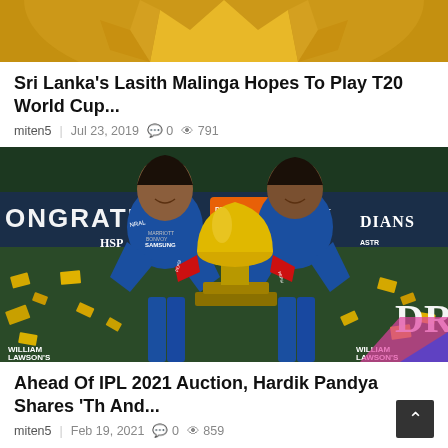[Figure (photo): Partial photo of a person in a yellow cricket jersey with arms raised, cropped at top of page]
Sri Lanka's Lasith Malinga Hopes To Play T20 World Cup...
miten5   Jul 23, 2019   0   791
[Figure (photo): Two Mumbai Indians cricket players in blue jerseys holding the IPL trophy (gold cup with red ribbons) and smiling. Background shows confetti and IPL branding with text CONGRATULATIONS, IPL, MUMBAI INDIANS, SAMSUNG, MARRIOTT BONVOY, WILLIAM LAWSON's. 'DR' text visible on right side.]
Ahead Of IPL 2021 Auction, Hardik Pandya Shares 'Th And...
miten5   Feb 19, 2021   0   859